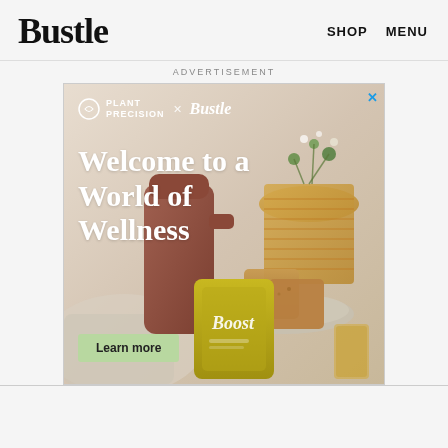Bustle   SHOP   MENU
ADVERTISEMENT
[Figure (photo): Plant Precision x Bustle advertisement showing a wellness lifestyle scene with a brown carafe, toast on a plate, a gold foil supplement packet labeled 'Boost', a wicker vase with flowers, a glass of tea, and white text reading 'Welcome to a World of Wellness' with a green 'Learn more' button.]